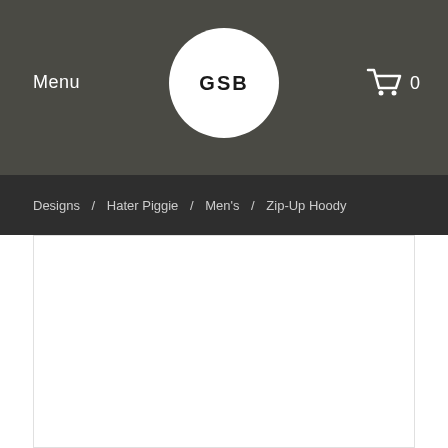Menu  GSB  0
Designs / Hater Piggie / Men's / Zip-Up Hoody
[Figure (photo): White product image area for a Zip-Up Hoody]